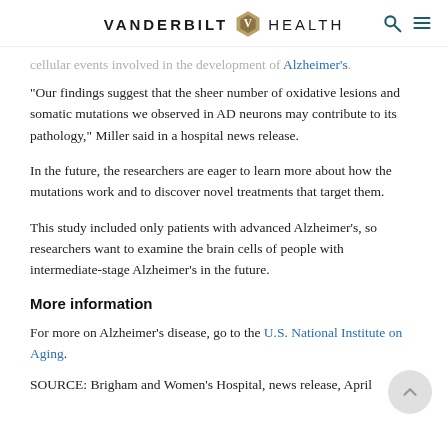VANDERBILT HEALTH
cellular events involved in the development of Alzheimer's.
"Our findings suggest that the sheer number of oxidative lesions and somatic mutations we observed in AD neurons may contribute to its pathology," Miller said in a hospital news release.
In the future, the researchers are eager to learn more about how the mutations work and to discover novel treatments that target them.
This study included only patients with advanced Alzheimer's, so researchers want to examine the brain cells of people with intermediate-stage Alzheimer's in the future.
More information
For more on Alzheimer's disease, go to the U.S. National Institute on Aging.
SOURCE: Brigham and Women's Hospital, news release, April